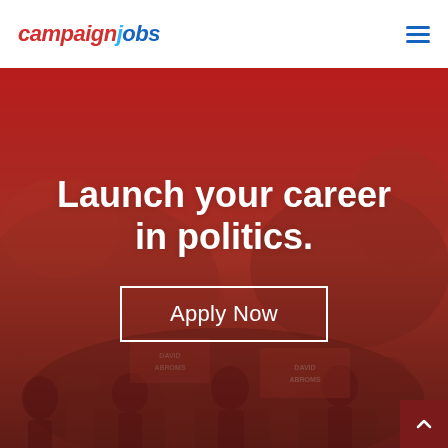campaignjobs
[Figure (photo): Hero image showing a group of people holding campaign signs for 'David Abroms', overlaid with a strong red tint. The image serves as a background for the website hero section.]
Launch your career in politics.
Apply Now